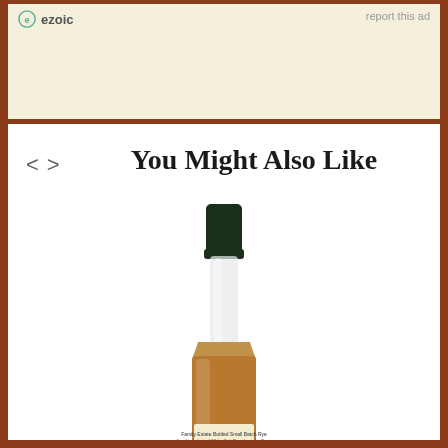ezoic  report this ad
You Might Also Like
[Figure (photo): A bottle of Willett whiskey with dark green cap, amber liquid, and white label showing Willett branding]